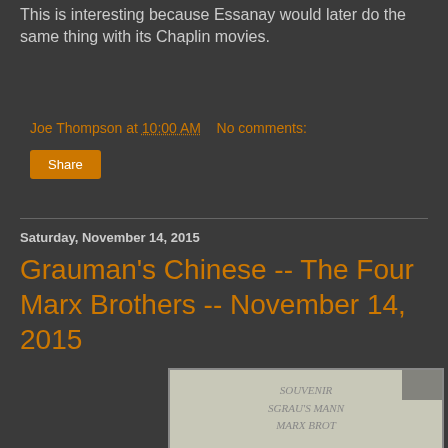This is interesting because Essanay would later do the same thing with its Chaplin movies.
Joe Thompson at 10:00 AM   No comments:
Share
Saturday, November 14, 2015
Grauman's Chinese -- The Four Marx Brothers -- November 14, 2015
[Figure (photo): Photo of cement slab at Grauman's Chinese Theatre showing Marx Brothers hand/footprint impressions with carved text]